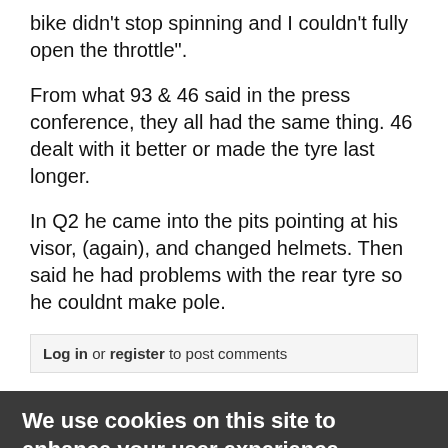bike didn't stop spinning and I couldn't fully open the throttle".
From what 93 & 46 said in the press conference, they all had the same thing. 46 dealt with it better or made the tyre last longer.
In Q2 he came into the pits pointing at his visor, (again), and changed helmets. Then said he had problems with the rear tyre so he couldnt make pole.
Log in or register to post comments
We use cookies on this site to enhance your user experience
By clicking any link on this page you are giving your consent for us to set cookies. No, give me more info
OK, I agree